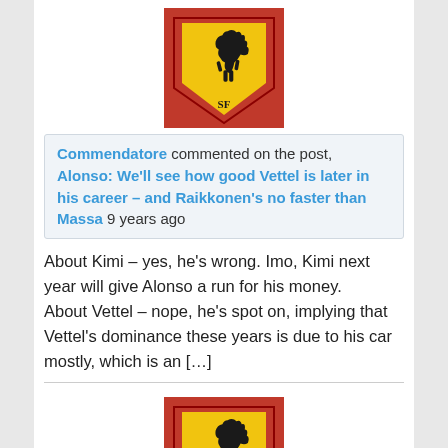[Figure (logo): Ferrari prancing horse logo on red and yellow shield background]
Commendatore commented on the post, Alonso: We'll see how good Vettel is later in his career – and Raikkonen's no faster than Massa 9 years ago
About Kimi – yes, he's wrong. Imo, Kimi next year will give Alonso a run for his money.
About Vettel – nope, he's spot on, implying that Vettel's dominance these years is due to his car mostly, which is an […]
[Figure (logo): Ferrari prancing horse logo on red and yellow shield background]
Commendatore commented on the post, Singapore